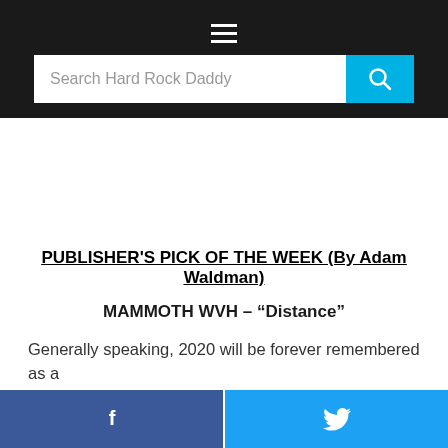Search Hard Rock Daddy
PUBLISHER'S PICK OF THE WEEK (By Adam Waldman)
MAMMOTH WVH – "Distance"
Generally speaking, 2020 will be forever remembered as a